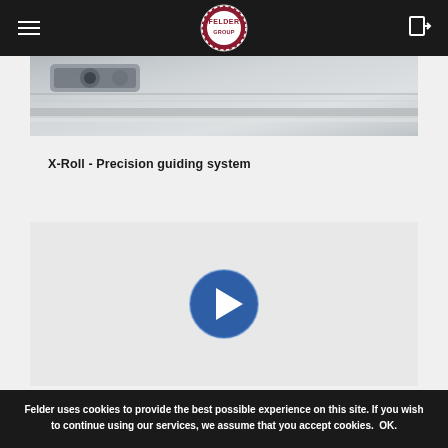Felder Group website navigation header with hamburger menu, Felder Group logo, and login icon
[Figure (photo): Close-up photo of a precision guiding rail/roller mechanism on a woodworking machine, showing metallic components against a light grey surface]
X-Roll - Precision guiding system
[Figure (other): Video placeholder area with a blue circular play button in the center, indicating an embedded video for the X-Roll precision guiding system]
Felder uses cookies to provide the best possible experience on this site. If you wish to continue using our services, we assume that you accept cookies. OK.